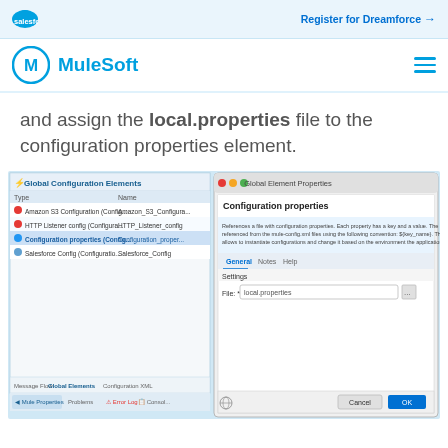salesforce | Register for Dreamforce →
MuleSoft
and assign the local.properties file to the configuration properties element.
[Figure (screenshot): MuleSoft Anypoint Studio screenshot showing Global Configuration Elements panel on the left with Amazon S3 Configuration, HTTP Listener config, Configuration properties, and Salesforce Config entries, and a Global Element Properties dialog on the right showing Configuration properties settings with File field containing 'local.properties']